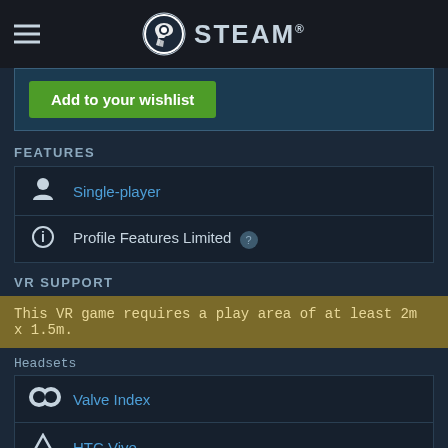STEAM
Add to your wishlist
FEATURES
Single-player
Profile Features Limited
VR SUPPORT
This VR game requires a play area of at least 2m x 1.5m.
Headsets
Valve Index
HTC Vive
Input
Tracked Motion Controllers